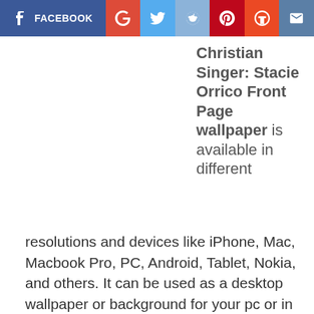[Figure (other): Social share bar with Facebook, Google+, Twitter, Reddit, Pinterest, StumbleUpon, and Email buttons]
Christian Singer: Stacie Orrico Front Page wallpaper is available in different resolutions and devices like iPhone, Mac, Macbook Pro, PC, Android, Tablet, Nokia, and others. It can be used as a desktop wallpaper or background for your pc or in